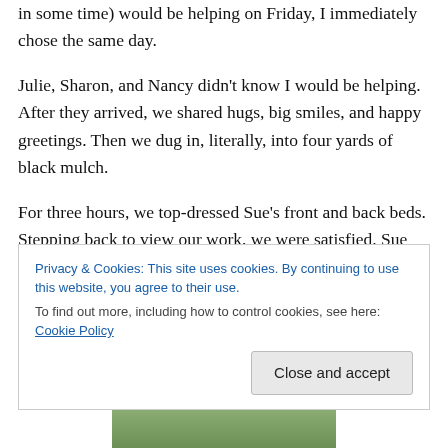in some time) would be helping on Friday, I immediately chose the same day.
Julie, Sharon, and Nancy didn't know I would be helping. After they arrived, we shared hugs, big smiles, and happy greetings. Then we dug in, literally, into four yards of black mulch.
For three hours, we top-dressed Sue's front and back beds. Stepping back to view our work, we were satisfied. Sue was especially pleased. The rich black carpet emphasized the swath of color and texture in her beautiful
Privacy & Cookies: This site uses cookies. By continuing to use this website, you agree to their use.
To find out more, including how to control cookies, see here: Cookie Policy
Close and accept
[Figure (photo): Photo of people in a garden setting, partially visible at bottom of page]